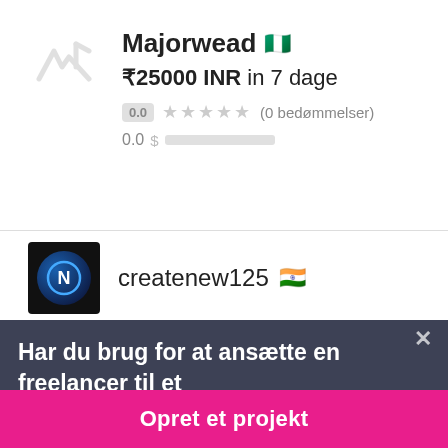Majorwead 🇳🇬
₹25000 INR in 7 dage
0.0 ★★★★★ (0 bedømmelser)
0.0
createnew125 🇮🇳
Har du brug for at ansætte en freelancer til et job?
Opret et projekt